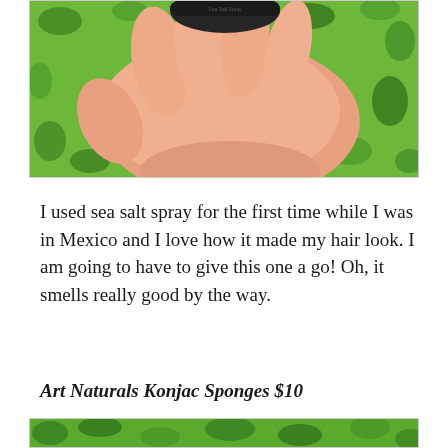[Figure (photo): A hand holding a dark cylindrical product container (sea salt spray), photographed against a green patterned fabric background.]
I used sea salt spray for the first time while I was in Mexico and I love how it made my hair look. I am going to have to give this one a go! Oh, it smells really good by the way.
Art Naturals Konjac Sponges $10
[Figure (photo): Partial view of a green patterned product packaging or background, bottom of page.]